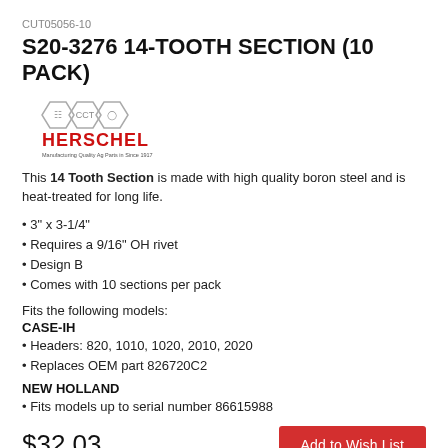CUT05056-10
S20-3276 14-TOOTH SECTION (10 PACK)
[Figure (logo): Herschel brand logo with three hexagon icons and red HERSCHEL text and tagline]
This 14 Tooth Section is made with high quality boron steel and is heat-treated for long life.
3" x 3-1/4"
Requires a 9/16" OH rivet
Design B
Comes with 10 sections per pack
Fits the following models:
CASE-IH
Headers: 820, 1010, 1020, 2010, 2020
Replaces OEM part 826720C2
NEW HOLLAND
Fits models up to serial number 86615988
$32.03
Add to Wish List